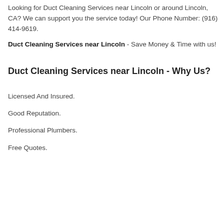Looking for Duct Cleaning Services near Lincoln or around Lincoln, CA? We can support you the service today! Our Phone Number: (916) 414-9619.
Duct Cleaning Services near Lincoln - Save Money & Time with us!
Duct Cleaning Services near Lincoln - Why Us?
Licensed And Insured.
Good Reputation.
Professional Plumbers.
Free Quotes.